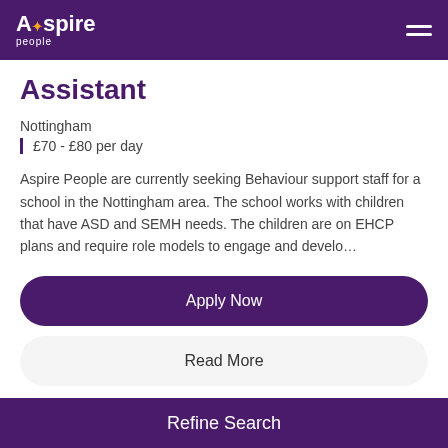Aspire people
Assistant
Nottingham
£70 - £80 per day
Aspire People are currently seeking Behaviour support staff for a school in the Nottingham area. The school works with children that have ASD and SEMH needs. The children are on EHCP plans and require role models to engage and develo…
Apply Now
Read More
Refine Search